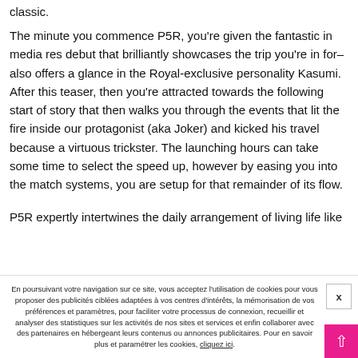classic.
The minute you commence P5R, you're given the fantastic in media res debut that brilliantly showcases the trip you're in for–also offers a glance in the Royal-exclusive personality Kasumi. After this teaser, then you're attracted towards the following start of story that then walks you through the events that lit the fire inside our protagonist (aka Joker) and kicked his travel because a virtuous trickster. The launching hours can take some time to select the speed up, however by easing you into the match systems, you are setup for that remainder of its flow.
P5R expertly intertwines the daily arrangement of living life like
En poursuivant votre navigation sur ce site, vous acceptez l'utilisation de cookies pour vous proposer des publicités ciblées adaptées à vos centres d'intérêts, la mémorisation de vos préférences et paramètres, pour faciliter votre processus de connexion, recueillir et analyser des statistiques sur les activités de nos sites et services et enfin collaborer avec des partenaires en hébergeant leurs contenus ou annonces publicitaires. Pour en savoir plus et paramétrer les cookies, cliquez ici.